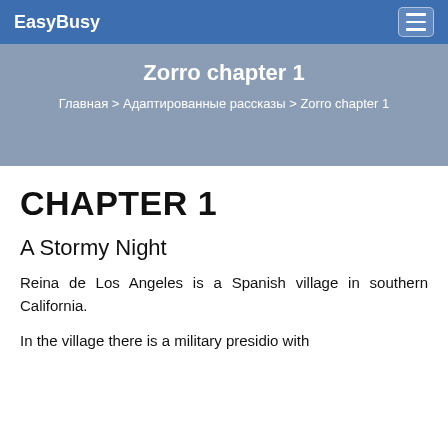EasyBusy
Zorro chapter 1
Главная > Адаптированные рассказы > Zorro chapter 1
CHAPTER 1
A Stormy Night
Reina de Los Angeles is a Spanish village in southern California.
In the village there is a military presidio with